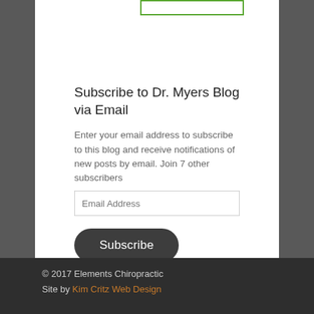[Figure (screenshot): Green-bordered input box at top of white panel, partially visible]
Subscribe to Dr. Myers Blog via Email
Enter your email address to subscribe to this blog and receive notifications of new posts by email. Join 7 other subscribers
[Figure (screenshot): Email Address input field with placeholder text]
[Figure (screenshot): Subscribe button, dark rounded rectangle]
© 2017 Elements Chiropractic
Site by Kim Critz Web Design